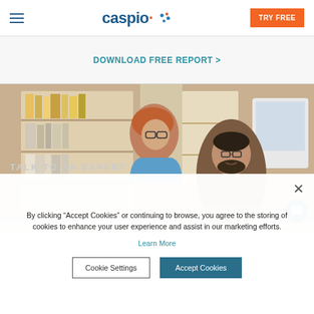Caspio — TRY FREE
DOWNLOAD FREE REPORT >
[Figure (photo): Two office workers, a woman with red hair and glasses leaning over and a man with glasses and a beard, looking at a computer screen together in an office with bookshelves in the background.]
By clicking "Accept Cookies" or continuing to browse, you agree to the storing of cookies to enhance your user experience and assist in our marketing efforts. Learn More
Cookie Settings    Accept Cookies